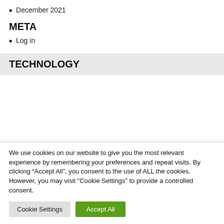December 2021
META
Log in
TECHNOLOGY
[Figure (illustration): Three loading spinner icons in a row]
We use cookies on our website to give you the most relevant experience by remembering your preferences and repeat visits. By clicking “Accept All”, you consent to the use of ALL the cookies. However, you may visit "Cookie Settings" to provide a controlled consent.